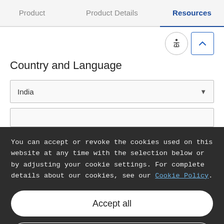Product  |  Product Details  |  Resources
Country and Language
India
You can accept or revoke the cookies used on this website at any time with the selection below or by adjusting your cookie settings. For complete details about our cookies, see our Cookie Policy.
Accept all
Customize
Only necessary